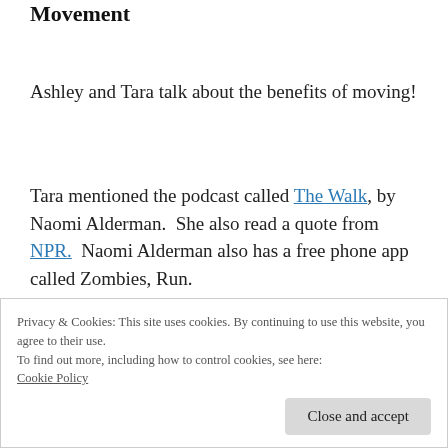Movement
Ashley and Tara talk about the benefits of moving!
Tara mentioned the podcast called The Walk, by Naomi Alderman.  She also read a quote from NPR.  Naomi Alderman also has a free phone app called Zombies, Run.
Privacy & Cookies: This site uses cookies. By continuing to use this website, you agree to their use.
To find out more, including how to control cookies, see here: Cookie Policy
through Alderman. Ashley also the Stars